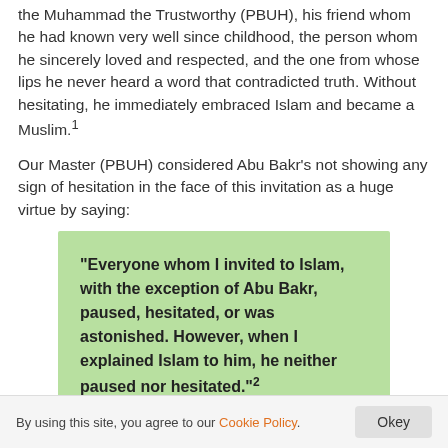the Muhammad the Trustworthy (PBUH), his friend whom he had known very well since childhood, the person whom he sincerely loved and respected, and the one from whose lips he never heard a word that contradicted truth. Without hesitating, he immediately embraced Islam and became a Muslim.1
Our Master (PBUH) considered Abu Bakr's not showing any sign of hesitation in the face of this invitation as a huge virtue by saying:
“Everyone whom I invited to Islam, with the exception of Abu Bakr, paused, hesitated, or was astonished. However, when I explained Islam to him, he neither paused nor hesitated.”2
Our Holy Prophet (PBUH) was extremely happy that his esteemed friend had become a Muslim. In regards to this
By using this site, you agree to our Cookie Policy. Okey